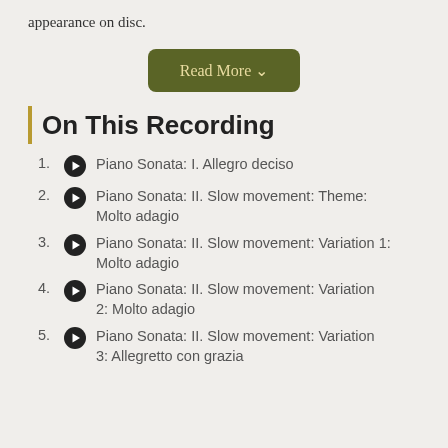appearance on disc.
[Figure (other): Read More button with dropdown chevron, dark olive green background with tan text]
On This Recording
1. Piano Sonata: I. Allegro deciso
2. Piano Sonata: II. Slow movement: Theme: Molto adagio
3. Piano Sonata: II. Slow movement: Variation 1: Molto adagio
4. Piano Sonata: II. Slow movement: Variation 2: Molto adagio
5. Piano Sonata: II. Slow movement: Variation 3: Allegretto con grazia